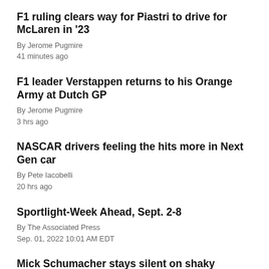F1 ruling clears way for Piastri to drive for McLaren in '23
By Jerome Pugmire
41 minutes ago
F1 leader Verstappen returns to his Orange Army at Dutch GP
By Jerome Pugmire
3 hrs ago
NASCAR drivers feeling the hits more in Next Gen car
By Pete Iacobelli
20 hrs ago
Sportlight-Week Ahead, Sept. 2-8
By The Associated Press
Sep. 01, 2022 10:01 AM EDT
Mick Schumacher stays silent on shaky Formula One future
By Jenna Fryer